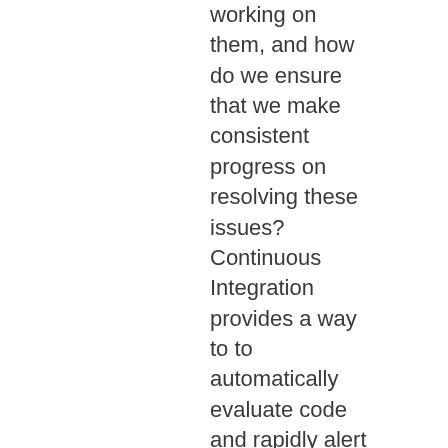working on them, and how do we ensure that we make consistent progress on resolving these issues? Continuous Integration provides a way to to automatically evaluate code and rapidly alert developers with prioritized issues found. Pulling from that list of